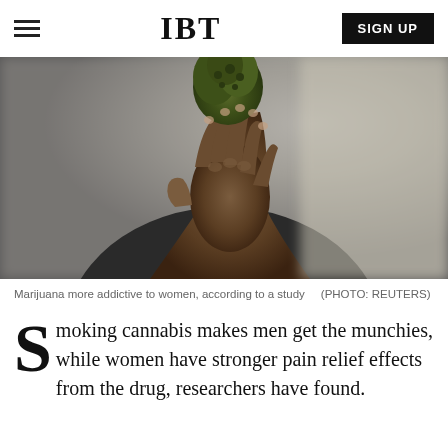IBT | SIGN UP
[Figure (photo): A person's hand holding a marijuana/cannabis bud, blurred background, close-up shot.]
Marijuana more addictive to women, according to a study    (PHOTO: REUTERS)
Smoking cannabis makes men get the munchies, while women have stronger pain relief effects from the drug, researchers have found.